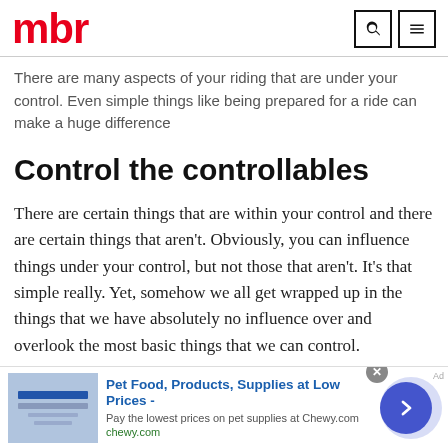mbr
There are many aspects of your riding that are under your control. Even simple things like being prepared for a ride can make a huge difference
Control the controllables
There are certain things that are within your control and there are certain things that aren't. Obviously, you can influence things under your control, but not those that aren't. It's that simple really. Yet, somehow we all get wrapped up in the things that we have absolutely no influence over and overlook the most basic things that we can control.
[Figure (other): Advertisement banner for Chewy.com pet supplies with logo image, bold blue text 'Pet Food, Products, Supplies at Low Prices -', subtitle 'Pay the lowest prices on pet supplies at Chewy.com', URL 'chewy.com', close button, and blue circular arrow navigation button]